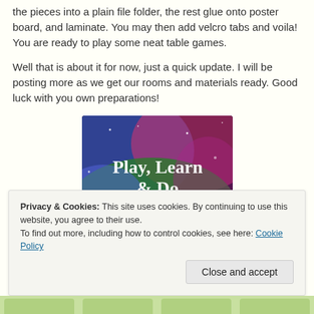the pieces into a plain file folder, the rest glue onto poster board, and laminate. You may then add velcro tabs and voila! You are ready to play some neat table games.
Well that is about it for now, just a quick update. I will be posting more as we get our rooms and materials ready. Good luck with you own preparations!
[Figure (illustration): Colorful glitter/chalk-style image with text reading 'Play, Learn & Do in Preschool' with a URL at the bottom: www.playlearado.com]
Privacy & Cookies: This site uses cookies. By continuing to use this website, you agree to their use.
To find out more, including how to control cookies, see here: Cookie Policy
Close and accept